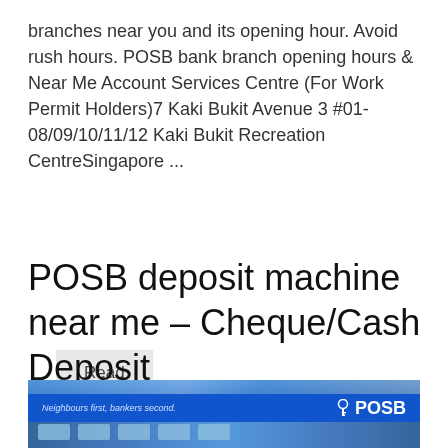branches near you and its opening hour. Avoid rush hours. POSB bank branch opening hours & Near Me Account Services Centre (For Work Permit Holders)7 Kaki Bukit Avenue 3 #01-08/09/10/11/12 Kaki Bukit Recreation CentreSingapore ...
Read More
POSB deposit machine near me – Cheque/Cash Deposit
[Figure (photo): Photo of a POSB bank deposit machine/ATM kiosk with blue branding, showing the POSB logo and tagline 'Neighbours first, bankers second.' with multiple ATM slots at the bottom.]